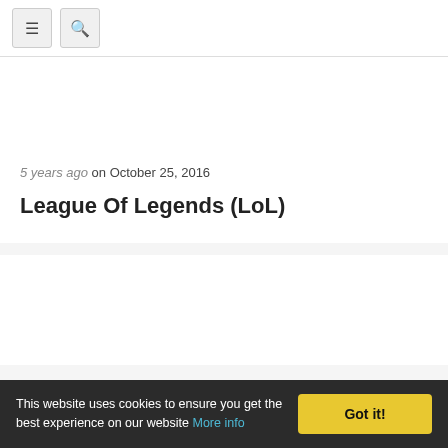≡  🔍
5 years ago on October 25, 2016
League Of Legends (LoL)
This website uses cookies to ensure you get the best experience on our website More info  Got it!